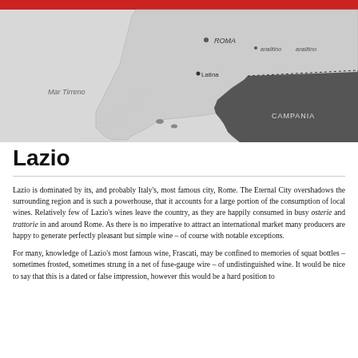[Figure (map): Map of central Italy showing Roma, Latina, Campania region, and Mar Tirreno (Tyrrhenian Sea). The map shows the Lazio region in light grey and Campania in dark grey/black, with dotted borders and labeled cities.]
Lazio
Lazio is dominated by its, and probably Italy's, most famous city, Rome. The Eternal City overshadows the surrounding region and is such a powerhouse, that it accounts for a large portion of the consumption of local wines. Relatively few of Lazio's wines leave the country, as they are happily consumed in busy osterie and trattorie in and around Rome. As there is no imperative to attract an international market many producers are happy to generate perfectly pleasant but simple wine – of course with notable exceptions.
For many, knowledge of Lazio's most famous wine, Frascati, may be confined to memories of squat bottles – sometimes frosted, sometimes strung in a net of fuse-gauge wire – of undistinguished wine. It would be nice to say that this is a dated or false impression, however this would be a hard position to